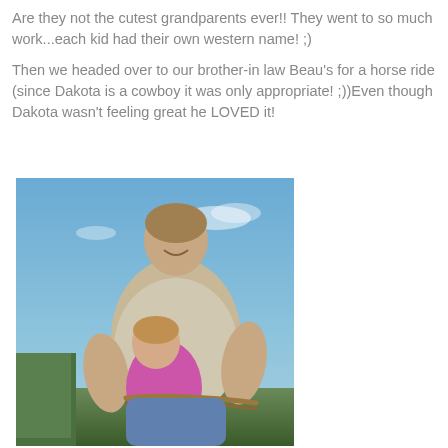Are they not the cutest grandparents ever!! They went to so much work...each kid had their own western name! ;)
Then we headed over to our brother-in law Beau's for a horse ride (since Dakota is a cowboy it was only appropriate! ;))Even though Dakota wasn't feeling great he LOVED it!
[Figure (photo): A man holding a small child (toddler in pink shirt) on horseback outdoors, blue sky in background, man is smiling and holding reins]